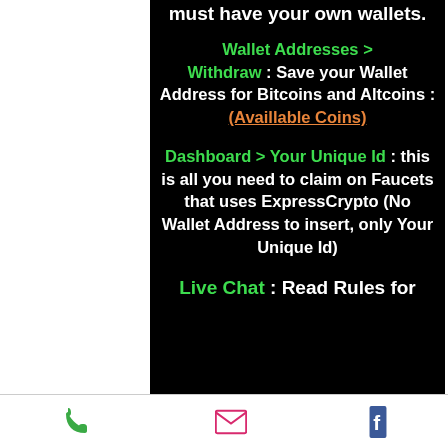must have your own wallets.
Wallet Addresses > Withdraw : Save your Wallet Address for Bitcoins and Altcoins : (Availlable Coins)
Dashboard > Your Unique Id : this is all you need to claim on Faucets that uses ExpressCrypto (No Wallet Address to insert, only Your Unique Id)
Live Chat : Read Rules for